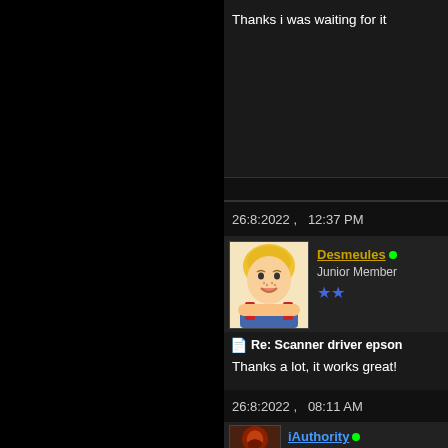Thanks i was waiting for it
26:8:2022 ,   12:37 PM
[Figure (illustration): Avatar of user Desmeules: cartoon blond boy with freckles and crossed arms]
Desmeules • Junior Member ★★
Re: Scanner driver epson
Thanks a lot, it works great!
26:8:2022 ,   08:11 AM
[Figure (photo): Avatar of user iAuthority: dark reddish circular avatar]
iAuthority • Jr. VIP